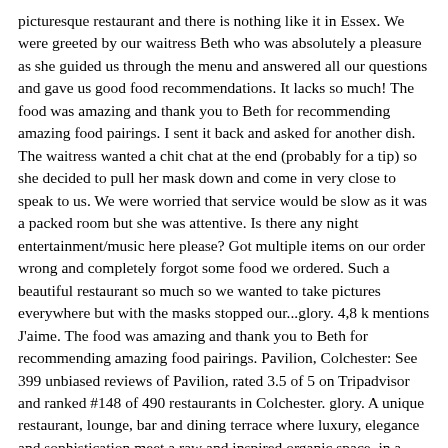picturesque restaurant and there is nothing like it in Essex. We were greeted by our waitress Beth who was absolutely a pleasure as she guided us through the menu and answered all our questions and gave us good food recommendations. It lacks so much! The food was amazing and thank you to Beth for recommending amazing food pairings. I sent it back and asked for another dish. The waitress wanted a chit chat at the end (probably for a tip) so she decided to pull her mask down and come in very close to speak to us. We were worried that service would be slow as it was a packed room but she was attentive. Is there any night entertainment/music here please? Got multiple items on our order wrong and completely forgot some food we ordered. Such a beautiful restaurant so much so we wanted to take pictures everywhere but with the masks stopped our...glory. 4,8 k mentions J'aime. The food was amazing and thank you to Beth for recommending amazing food pairings. Pavilion, Colchester: See 399 unbiased reviews of Pavilion, rated 3.5 of 5 on Tripadvisor and ranked #148 of 490 restaurants in Colchester. glory. A unique restaurant, lounge, bar and dining terrace where luxury, elegance and sophistication meet a raw and inspired organic space, in a breath of fresh air. Note: your question will be posted publicly on the Questions & Answers page. Go to waggamammas instead. I agreed with other reviews about the chicken salad. Room was a bit loud but that was due